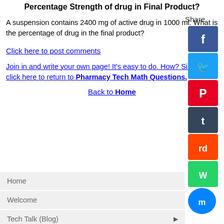Percentage Strength of drug in Final Product?
A suspension contains 2400 mg of active drug in 1000 ml. What is the percentage of drug in the final product?
Click here to post comments
Join in and write your own page! It's easy to do. How? Simply click here to return to Pharmacy Tech Math Questions.
Back to Home
Home
Welcome
Tech Talk (Blog)
Low-Cost Books
PharmTech E-Books